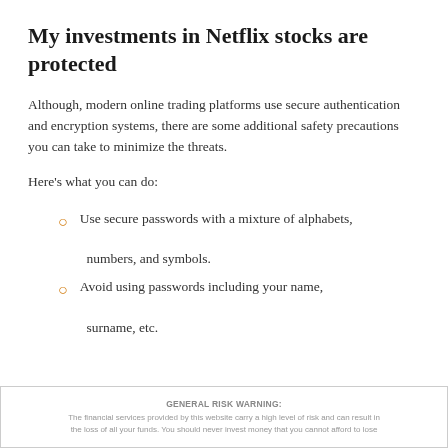My investments in Netflix stocks are protected
Although, modern online trading platforms use secure authentication and encryption systems, there are some additional safety precautions you can take to minimize the threats.
Here’s what you can do:
Use secure passwords with a mixture of alphabets, numbers, and symbols.
Avoid using passwords including your name, surname, etc.
GENERAL RISK WARNING: The financial services provided by this website carry a high level of risk and can result in the loss of all your funds. You should never invest money that you cannot afford to lose